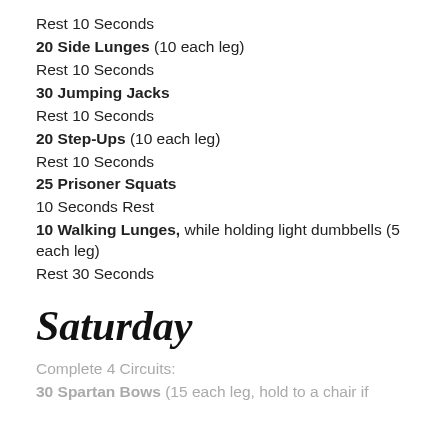Rest 10 Seconds
20 Side Lunges (10 each leg)
Rest 10 Seconds
30 Jumping Jacks
Rest 10 Seconds
20 Step-Ups (10 each leg)
Rest 10 Seconds
25 Prisoner Squats
10 Seconds Rest
10 Walking Lunges, while holding light dumbbells (5 each leg)
Rest 30 Seconds
Saturday
Complete 4 Circuits:
30 Spartan Bows (15 each leg, hold to a chair if needed)